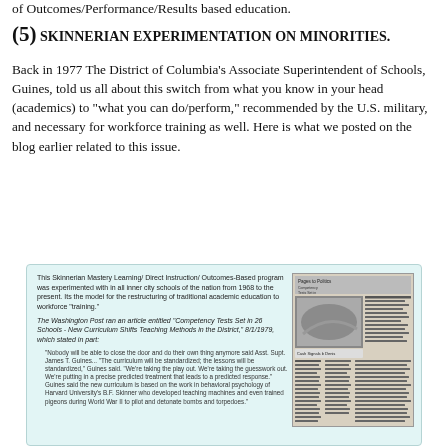of Outcomes/Performance/Results based education.
(5) SKINNERIAN EXPERIMENTATION ON MINORITIES.
Back in 1977 The District of Columbia's Associate Superintendent of Schools, Guines, told us all about this switch from what you know in your head (academics) to "what you can do/perform," recommended by the U.S. military, and necessary for workforce training as well. Here is what we posted on the blog earlier related to this issue.
[Figure (screenshot): Inset box with light blue background containing text about Skinnerian Mastery Learning/Direct Instruction/Outcomes-Based program experimentation in inner city schools, an italic reference to a Washington Post article 'Competency Tests Set in 26 Schools', a block quote from Asst. Supt. James T. Guines, and a newspaper clipping image on the right side.]